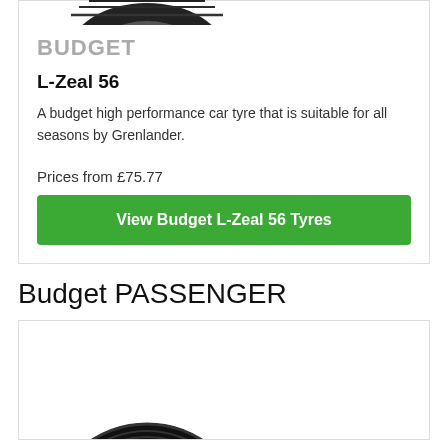[Figure (photo): Top portion of a black car tyre shown from above, partially cropped at the top of the card]
BUDGET
L-Zeal 56
A budget high performance car tyre that is suitable for all seasons by Grenlander.
Prices from £75.77
View Budget L-Zeal 56 Tyres
Budget PASSENGER
[Figure (photo): Black passenger car tyre shown from a front angle, partially cropped at the bottom of the page]